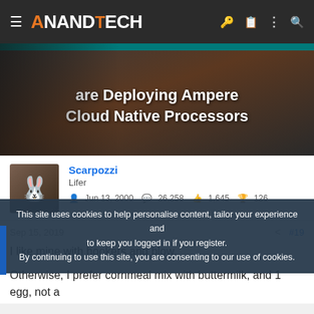AnandTech
[Figure (screenshot): AnandTech article hero image: 'are Deploying Ampere Cloud Native Processors' on dark background]
Scarpozzi
Lifer
Jun 13, 2000  26,258  1,645  126
Sep 15, 2019  #19
I like mine with hookers and blow.
Otherwise, I prefer cornmeal mix with buttermilk, and 1 egg,  not a
This site uses cookies to help personalise content, tailor your experience and to keep you logged in if you register.
By continuing to use this site, you are consenting to our use of cookies.